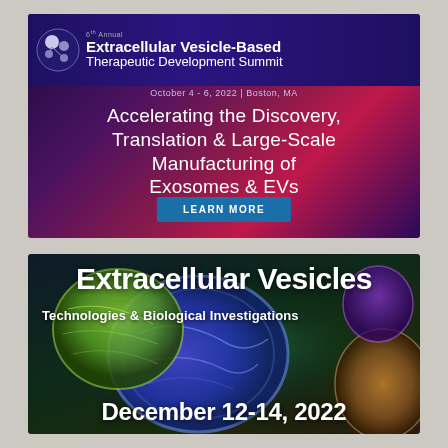[Figure (infographic): Banner for 6th Annual Extracellular Vesicle-Based Therapeutic Development Summit, October 4-6 2022, Boston MA. Purple/magenta gradient background with logo and text: Accelerating the Discovery, Translation & Large-Scale Manufacturing of Exosomes & EVs. LEARN MORE button.]
[Figure (infographic): Banner for Extracellular Vesicles Technologies & Biological Investigations conference, December 12-14, 2022. Dark microscopy background showing colorful extracellular vesicle cells.]